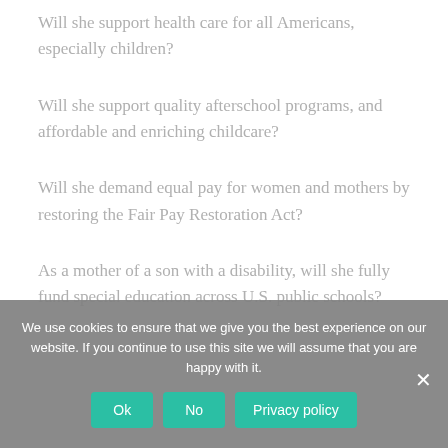Will she support health care for all Americans, especially children?
Will she support quality afterschool programs, and affordable and enriching childcare?
Will she demand equal pay for women and mothers by restoring the Fair Pay Restoration Act?
As a mother of a son with a disability, will she fully fund special education across U.S. public schools?
We use cookies to ensure that we give you the best experience on our website. If you continue to use this site we will assume that you are happy with it.